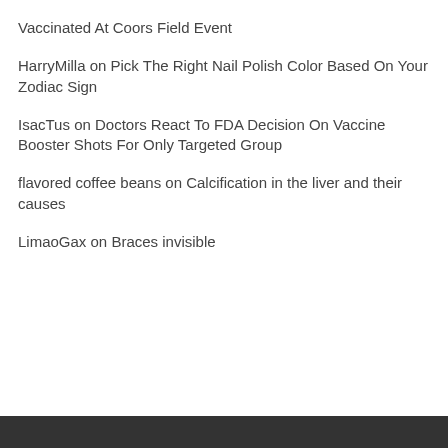Vaccinated At Coors Field Event
HarryMilla on Pick The Right Nail Polish Color Based On Your Zodiac Sign
IsacTus on Doctors React To FDA Decision On Vaccine Booster Shots For Only Targeted Group
flavored coffee beans on Calcification in the liver and their causes
LimaoGax on Braces invisible